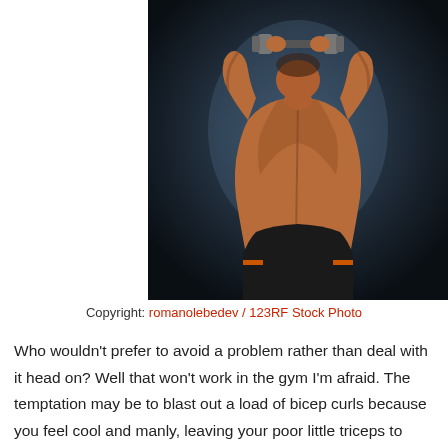[Figure (photo): A muscular man photographed from behind, shirtless, holding a dumbbell overhead with both hands. He wears black and orange shorts. The background is a dark blue-grey studio backdrop.]
Copyright: romanolebedev / 123RF Stock Photo
Who wouldn't prefer to avoid a problem rather than deal with it head on? Well that won't work in the gym I'm afraid. The temptation may be to blast out a load of bicep curls because you feel cool and manly, leaving your poor little triceps to suffer, but that's not gonna help your arms look as